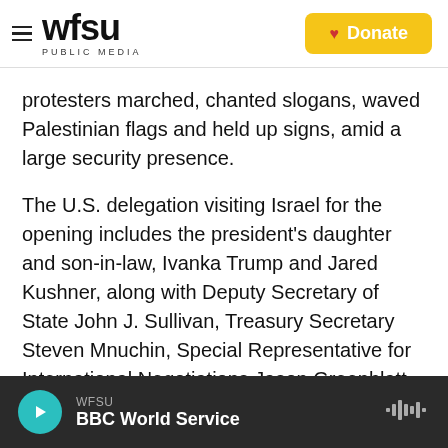wfsu PUBLIC MEDIA | Donate
protesters marched, chanted slogans, waved Palestinian flags and held up signs, amid a large security presence.
The U.S. delegation visiting Israel for the opening includes the president's daughter and son-in-law, Ivanka Trump and Jared Kushner, along with Deputy Secretary of State John J. Sullivan, Treasury Secretary Steven Mnuchin, Special Representative for International Negotiations Jason Greenblatt, and Ambassador David Friedman.
WFSU | BBC World Service